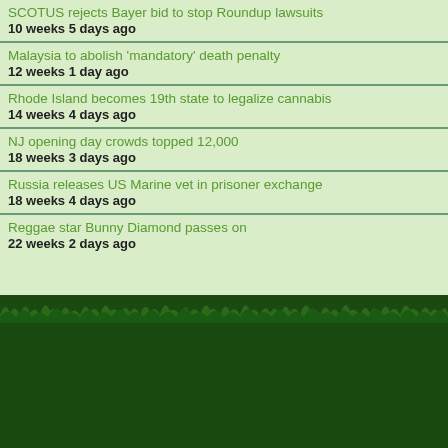SCOTUS rejects Bayer bid to stop Roundup lawsuits
10 weeks 5 days ago
Malaysia to abolish 'mandatory' death penalty
12 weeks 1 day ago
Rhode Island becomes 19th state to legalize cannabis
14 weeks 4 days ago
NJ opening day crowds topped 12,000
18 weeks 3 days ago
Russia releases US Marine vet in prisoner exchange
18 weeks 4 days ago
Reggae star Bunny Diamond passes on
22 weeks 2 days ago
[Figure (logo): Creative Commons BY NC ND license badge]
This work is licensed under a Creative Commons Attribution-Noncommercial...
[Figure (logo): Powered by Drupal badge]